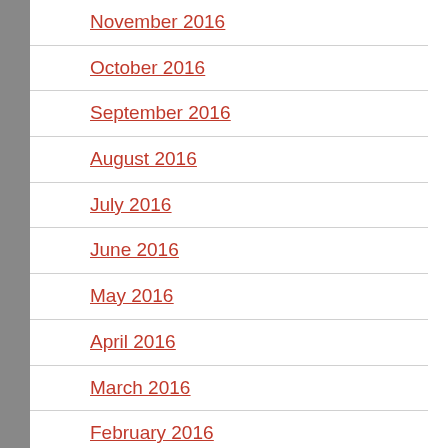November 2016
October 2016
September 2016
August 2016
July 2016
June 2016
May 2016
April 2016
March 2016
February 2016